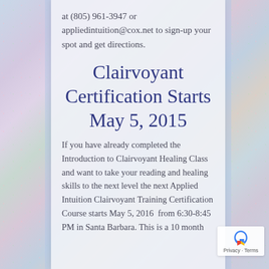at (805) 961-3947 or appliedintuition@cox.net to sign-up your spot and get directions.
Clairvoyant Certification Starts May 5, 2015
If you have already completed the Introduction to Clairvoyant Healing Class and want to take your reading and healing skills to the next level the next Applied Intuition Clairvoyant Training Certification Course starts May 5, 2016 from 6:30-8:45 PM in Santa Barbara. This is a 10 month